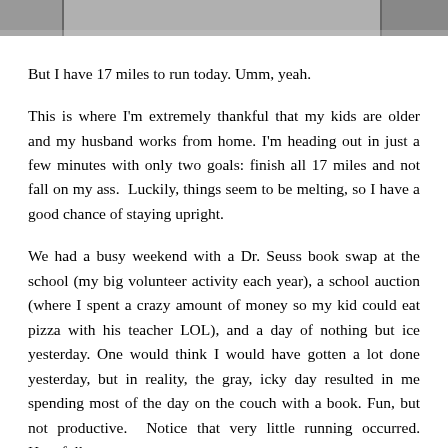[Figure (photo): Partial photo strip at the top of the page, appears to show an outdoor/winter scene in grayscale.]
But I have 17 miles to run today. Umm, yeah.
This is where I'm extremely thankful that my kids are older and my husband works from home. I'm heading out in just a few minutes with only two goals: finish all 17 miles and not fall on my ass.  Luckily, things seem to be melting, so I have a good chance of staying upright.
We had a busy weekend with a Dr. Seuss book swap at the school (my big volunteer activity each year), a school auction (where I spent a crazy amount of money so my kid could eat pizza with his teacher LOL), and a day of nothing but ice yesterday. One would think I would have gotten a lot done yesterday, but in reality, the gray, icky day resulted in me spending most of the day on the couch with a book. Fun, but not productive.  Notice that very little running occurred. Hopefully